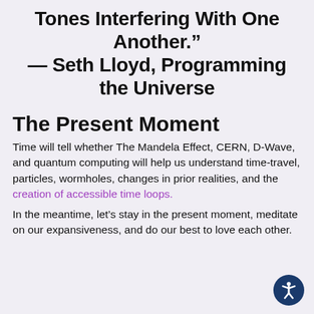Tones Interfering With One Another." — Seth Lloyd, Programming the Universe
The Present Moment
Time will tell whether The Mandela Effect, CERN, D-Wave, and quantum computing will help us understand time-travel, particles, wormholes, changes in prior realities, and the creation of accessible time loops.
In the meantime, let’s stay in the present moment, meditate on our expansiveness, and do our best to love each other.